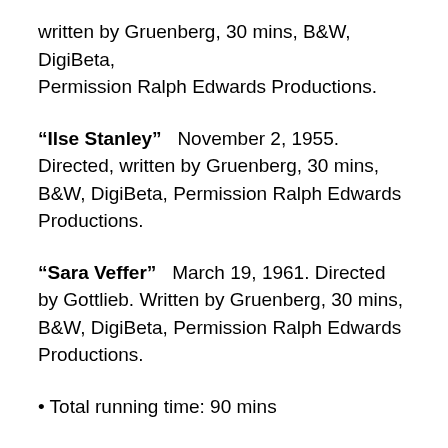written by Gruenberg, 30 mins, B&W, DigiBeta, Permission Ralph Edwards Productions.
“Ilse Stanley”  November 2, 1955. Directed, written by Gruenberg, 30 mins, B&W, DigiBeta, Permission Ralph Edwards Productions.
“Sara Veffer”  March 19, 1961. Directed by Gottlieb. Written by Gruenberg, 30 mins, B&W, DigiBeta, Permission Ralph Edwards Productions.
• Total running time: 90 mins
Preserved in cooperation with the Library of Congress Packard Campus for Audio-Visual Conservation from